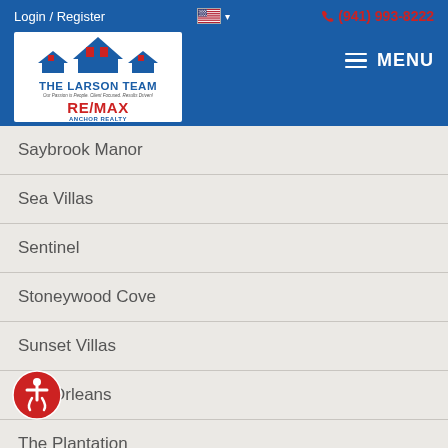Login / Register  (941) 993-8222
[Figure (logo): The Larson Team RE/MAX Anchor Realty logo with house illustration]
Saybrook Manor
Sea Villas
Sentinel
Stoneywood Cove
Sunset Villas
The Orleans
The Plantation
Preserve Villas